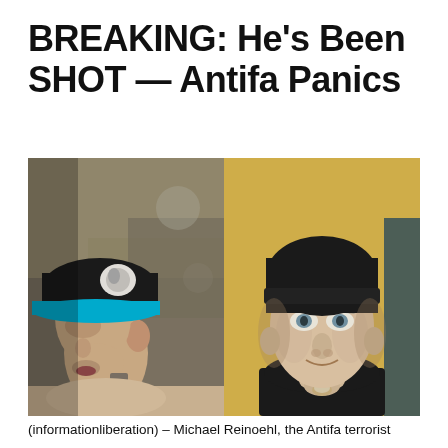BREAKING: He's Been SHOT — Antifa Panics
[Figure (photo): Two side-by-side photos of Michael Reinoehl. Left: a man in a black baseball cap with teal brim, neck tattoo, photographed outdoors at an angle. Right: a thin older man in a black beanie, smiling slightly, selfie against a yellow wall.]
(informationliberation) – Michael Reinoehl, the Antifa terrorist